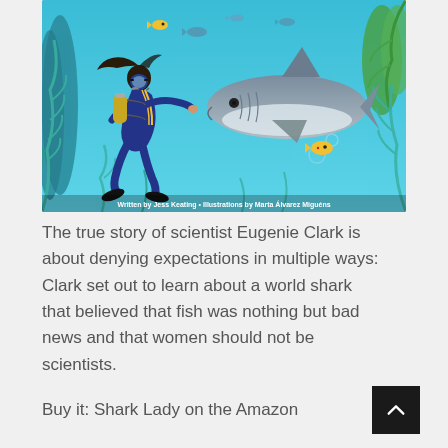[Figure (illustration): Children's book cover illustration showing a female scuba diver with long dark hair, yellow air tank, and blue wetsuit, reaching out to touch a large grey shark underwater. Colorful fish and green/teal seaweed surround them on a turquoise ocean background. Caption at bottom reads: Written by Jess Keating • Illustrations by Marta Álvarez Miguéns]
The true story of scientist Eugenie Clark is about denying expectations in multiple ways: Clark set out to learn about a world shark that believed that fish was nothing but bad news and that women should not be scientists.
Buy it: Shark Lady on the Amazon